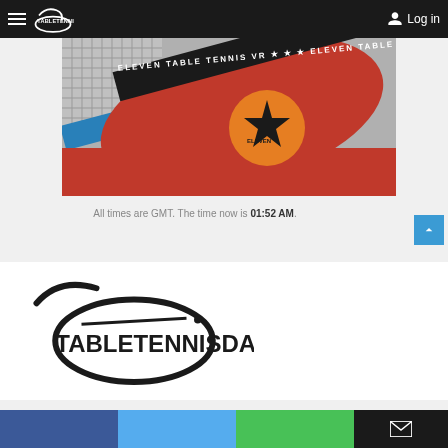TableTennisDailyLog in
[Figure (photo): Close-up photo of a table tennis paddle with 'Eleven Table Tennis VR' branding on the edge tape and an orange ball with a star logo, on a red table surface]
All times are GMT. The time now is 01:52 AM.
[Figure (logo): TableTennisDaily logo — large black wordmark with paddle icon forming circle shapes]
Social media share bar with Facebook, Twitter, YouTube, and email icons